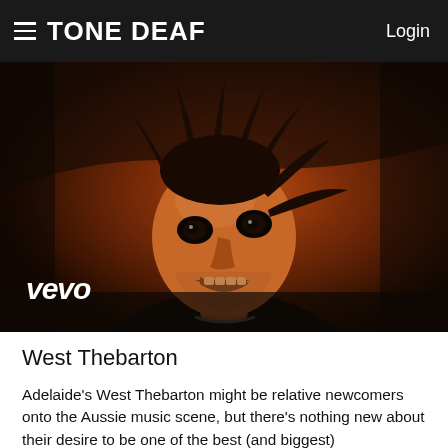TONE DEAF  Login
[Figure (photo): Music video still from Vevo showing a young male singer with wild dark spiky hair, intense expression, singing, lit with reddish-orange light. Vevo logo visible in bottom-left corner of the image.]
West Thebarton
Adelaide's West Thebarton might be relative newcomers onto the Aussie music scene, but there's nothing new about their desire to be one of the best (and biggest)